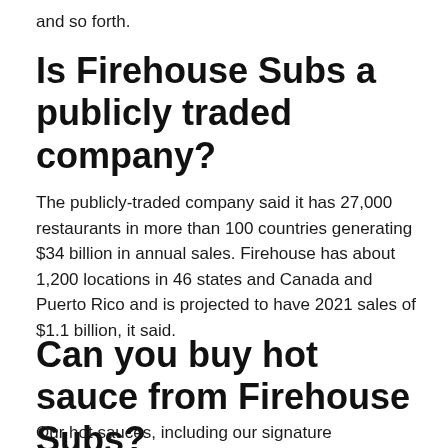and so forth.
Is Firehouse Subs a publicly traded company?
The publicly-traded company said it has 27,000 restaurants in more than 100 countries generating $34 billion in annual sales. Firehouse has about 1,200 locations in 46 states and Canada and Puerto Rico and is projected to have 2021 sales of $1.1 billion, it said.
Can you buy hot sauce from Firehouse Subs?
Our hot sauces, including our signature